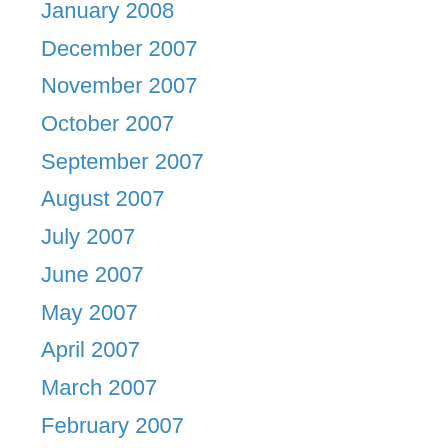January 2008
December 2007
November 2007
October 2007
September 2007
August 2007
July 2007
June 2007
May 2007
April 2007
March 2007
February 2007
January 2007
December 2006
March 2005